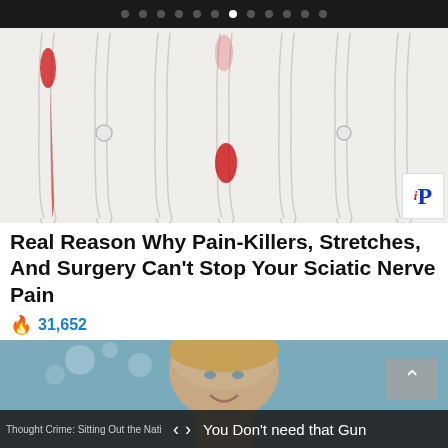Navigation dots — carousel indicator
[Figure (illustration): Medical illustration showing multiple side-view outlines of human legs, with red highlighted areas indicating sciatic nerve pain regions running from the lower back down the leg.]
Real Reason Why Pain-Killers, Stretches, And Surgery Can't Stop Your Sciatic Nerve Pain
🔥 31,652
[Figure (photo): Photograph of a woman with blonde hair smiling, appearing to be at an indoor event with decorative lights in the background.]
Thought Crime: Sitting Out the Nati   <   >   You Don't need that Gun